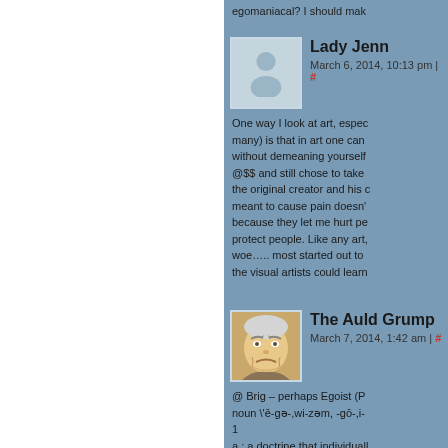egomaniacal? I should mak…
Lady Jenn
March 6, 2014, 10:13 pm | #
One way I look at art, espec… many) is that in art one can… without demeaning yourself… @$$ and still chose to take… the original creator and his… meant to cause pain doesn'… because they let me hurt pe… protect people. Like any art,… woe….. most started out to… the visual artists could learn…
The Auld Grump
March 7, 2014, 1:42 am | #
@ Brig – perhaps Egoist (P… noun \'ē-gə-,wi-zəm, -gō-,i-… 1
a : a doctrine that individuall…
b : a doctrine that individuall…
That viewpoint is why I can…

Or simply a functional socio…
Schindler described as a fu…
people.)